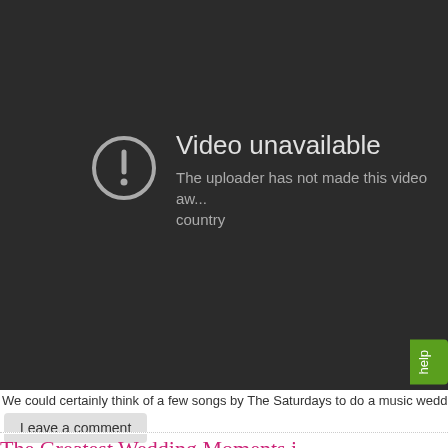[Figure (screenshot): YouTube video unavailable error screen with dark background, exclamation mark icon in circle, showing 'Video unavailable' message and 'The uploader has not made this video aw... country' text, with a green 'help' button tab on the right edge.]
We could certainly think of a few songs by The Saturdays to do a music wedding vide
Leave a comment
The Greatest Wedding Moments i